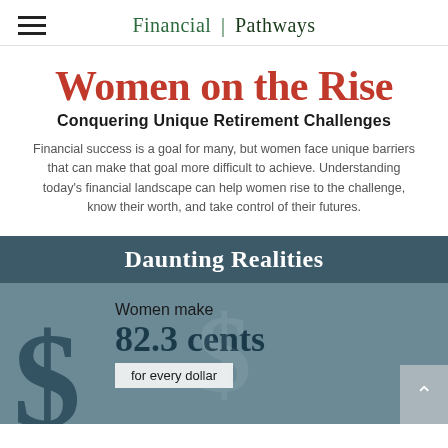Financial | Pathways
Women on the Rise
Conquering Unique Retirement Challenges
Financial success is a goal for many, but women face unique barriers that can make that goal more difficult to achieve. Understanding today's financial landscape can help women rise to the challenge, know their worth, and take control of their futures.
Daunting Realities
Women make 82.3 cents for every dollar